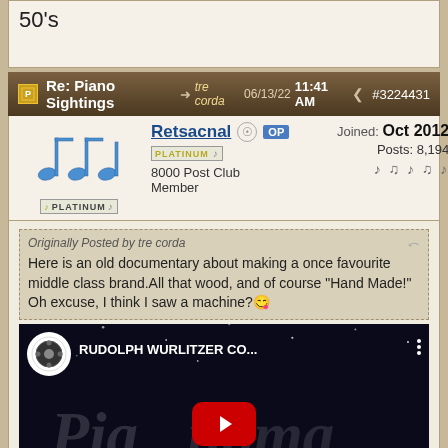50's
Re: Piano Sightings  tre corda  06/13/22 11:41 AM  #3224431
Retsacnal  OP  Joined: Oct 2012  Posts: 8,194  PLATINUM  8000 Post Club Member
Originally Posted by tre corda
Here is an old documentary about making a once favourite middle class brand.All that wood, and of course "Hand Made!" Oh excuse, I think I saw a machine?
[Figure (screenshot): YouTube video embed showing RUDOLPH WURLITZER CO... video thumbnail with script-style text overlay resembling 'Pianoma' or similar, with red YouTube play button, channel icon, and timecode PF# 55264 00:00:34:09]